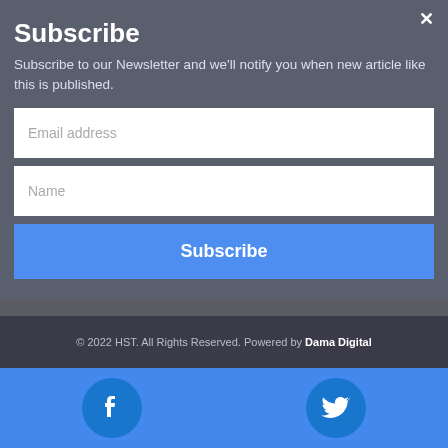Subscribe
Subscribe to our Newsletter and we'll notify you when new article like this is published.
Email address
Name
Subscribe
© 2022 HST. All Rights Reserved. Powered by Dama Digital